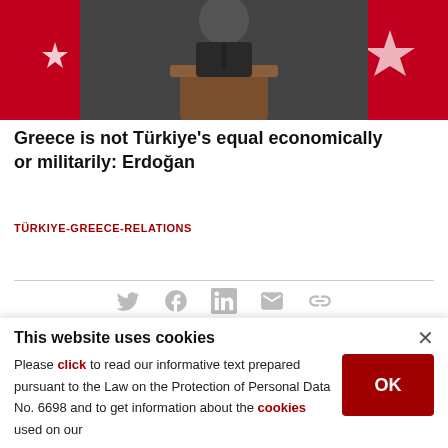[Figure (photo): Photo of a person at a podium with Turkish flags in the background]
Greece is not Türkiye's equal economically or militarily: Erdoğan
TÜRKIYE-GREECE-RELATIONS
[Figure (other): Social sharing icons: Twitter, Facebook, LinkedIn, Email, Link]
KEYWORDS
TURKEY / EASTERN MEDITERRANEAN /
TURKSTREAM NATURAL GAS PIPELINE / BOSNIA-HERZEGOVINA /
This website uses cookies
Please click to read our informative text prepared pursuant to the Law on the Protection of Personal Data No. 6698 and to get information about the cookies used on our